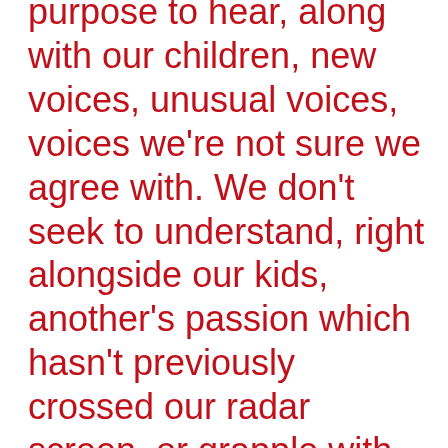purpose to hear, along with our children, new voices, unusual voices, voices we're not sure we agree with. We don't seek to understand, right alongside our kids, another's passion which hasn't previously crossed our radar screen, or grapple with vastly-different lives, dreams, sorrows of people unlike us. Thus, we effectively shut those gates.